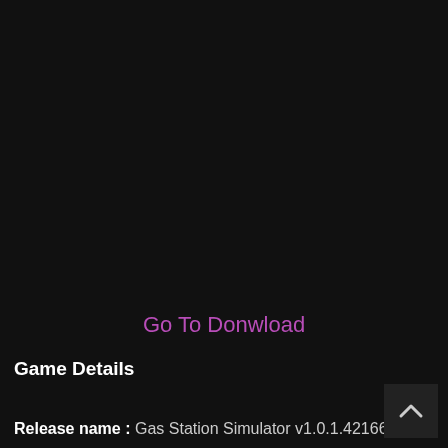Go To Donwload
Game Details
Release name : Gas Station Simulator v1.0.1.42166